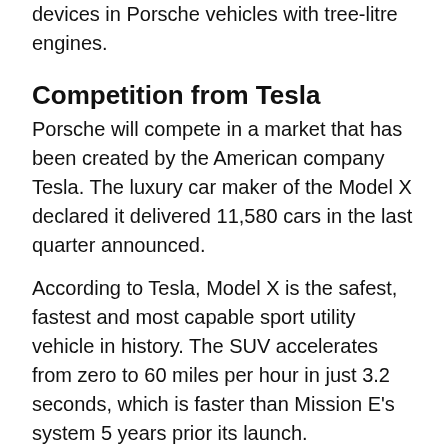devices in Porsche vehicles with tree-litre engines.
Competition from Tesla
Porsche will compete in a market that has been created by the American company Tesla. The luxury car maker of the Model X declared it delivered 11,580 cars in the last quarter announced.
According to Tesla, Model X is the safest, fastest and most capable sport utility vehicle in history. The SUV accelerates from zero to 60 miles per hour in just 3.2 seconds, which is faster than Mission E's system 5 years prior its launch.
Model S from Tesla also became popular with an acceleration system that goes from 0 to 60 miles per hour in as little as 2.8 seconds without a drop of gasoline. 11,574 Model S cars were sold in the last quarter.